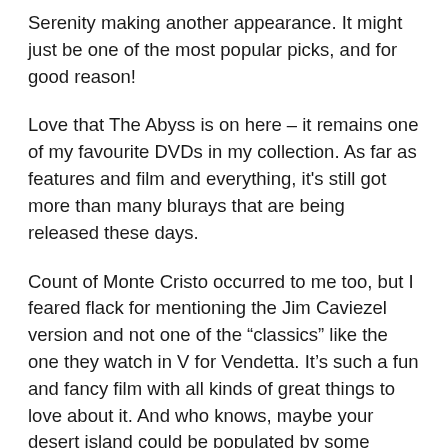Serenity making another appearance. It might just be one of the most popular picks, and for good reason!
Love that The Abyss is on here – it remains one of my favourite DVDs in my collection. As far as features and film and everything, it's still got more than many blurays that are being released these days.
Count of Monte Cristo occurred to me too, but I feared flack for mentioning the Jim Caviezel version and not one of the “classics” like the one they watch in V for Vendetta. It’s such a fun and fancy film with all kinds of great things to love about it. And who knows, maybe your desert island could be populated by some immense